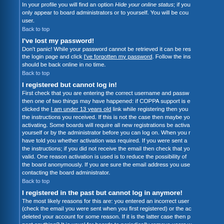In your profile you will find an option Hide your online status; if you only appear to board administrators or to yourself. You will be counted as a hidden user.
Back to top
I've lost my password!
Don't panic! While your password cannot be retrieved it can be reset. Visit the login page and click I've forgotten my password. Follow the instructions and you should be back online in no time.
Back to top
I registered but cannot log in!
First check that you are entering the correct username and password. If they are then one of two things may have happened: if COPPA support is enabled and you clicked the I am under 13 years old link while registering then you will need to follow the instructions you received. If this is not the case then maybe your account need activating. Some boards will require all new registrations be activated, either by yourself or by the administrator before you can log on. When you registered it will have told you whether activation was required. If you were sent an email then follow the instructions; if you did not receive the email then check that your email address is valid. One reason activation is used is to reduce the possibility of people abusing the board anonymously. If you are sure the email address you used is valid then try contacting the board administrator.
Back to top
I registered in the past but cannot log in anymore!
The most likely reasons for this are: you entered an incorrect username or password (check the email you were sent when you first registered) or the administrator has deleted your account for some reason. If it is the latter case then perhaps you did not post anything? It is usual for boards to periodically remove users who